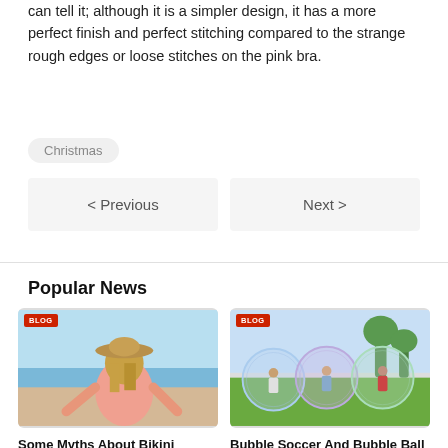can tell it; although it is a simpler design, it has a more perfect finish and perfect stitching compared to the strange rough edges or loose stitches on the pink bra.
Christmas
< Previous
Next >
Popular News
[Figure (photo): Woman in a pink top and straw hat at the beach, seen from behind.]
[Figure (photo): People playing bubble soccer/football on a grass field with large transparent bubble balls.]
Some Myths About Bikini
The natural human desire to appear attractive is constantly
Bubble Soccer And Bubble Ball Sumo, What Are They?
Bubble soccer/football,